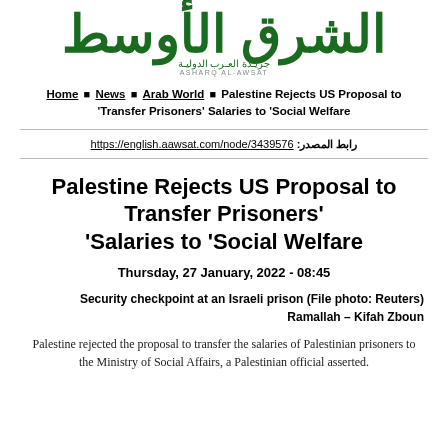[Figure (logo): Asharq Al-Awsat newspaper logo with large green Arabic text and subtitle in Arabic and English]
Home ■ News ■ Arab World ■ Palestine Rejects US Proposal to Transfer Prisoners' Salaries to 'Social Welfare
رابط المصدر: https://english.aawsat.com/node/3439576
Palestine Rejects US Proposal to Transfer Prisoners' 'Salaries to 'Social Welfare
Thursday, 27 January, 2022 - 08:45
Security checkpoint at an Israeli prison (File photo: Reuters)
Ramallah – Kifah Zboun
Palestine rejected the proposal to transfer the salaries of Palestinian prisoners to the Ministry of Social Affairs, a Palestinian official asserted.